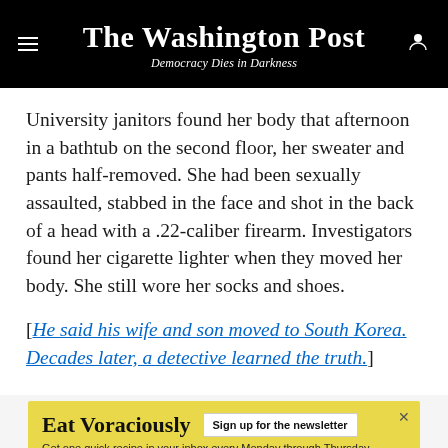The Washington Post — Democracy Dies in Darkness
University janitors found her body that afternoon in a bathtub on the second floor, her sweater and pants half-removed. She had been sexually assaulted, stabbed in the face and shot in the back of a head with a .22-caliber firearm. Investigators found her cigarette lighter when they moved her body. She still wore her socks and shoes.
[He said his wife and son moved to South Korea. Decades later, a detective learned the truth.]
[Figure (other): Advertisement banner for 'Eat Voraciously' newsletter with yellow background. Text: 'Eat Voraciously', 'Sign up for the newsletter', 'Get one quick recipe in your inbox every Monday through Thursday.']